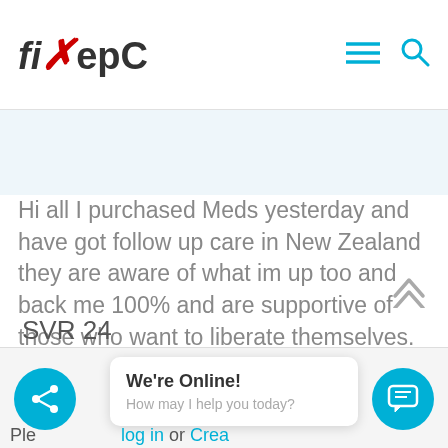fixHepC
Hi all I purchased Meds yesterday and have got follow up care in New Zealand they are aware of what im up too and back me 100% and are supportive of those who want to liberate themselves. This clinic is run privately by clinicians who work in the public health system. Its really encouraging that I have support and that word is getting out about generics
SVR 24
We're Online! How may I help you today?
Please log in or Create an account to join the conversation